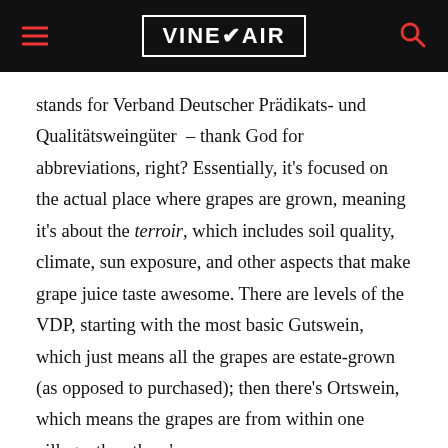VINEPAIR
stands for Verband Deutscher Prädikats- und Qualitätsweingüter – thank God for abbreviations, right? Essentially, it's focused on the actual place where grapes are grown, meaning it's about the terroir, which includes soil quality, climate, sun exposure, and other aspects that make grape juice taste awesome. There are levels of the VDP, starting with the most basic Gutswein, which just means all the grapes are estate-grown (as opposed to purchased); then there's Ortswein, which means the grapes are from within one village; then there's